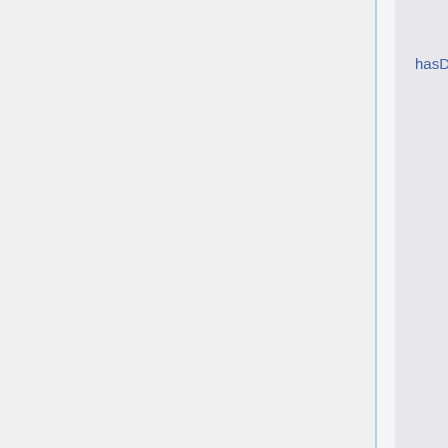hasDescription
l h o d e 3 4
reco